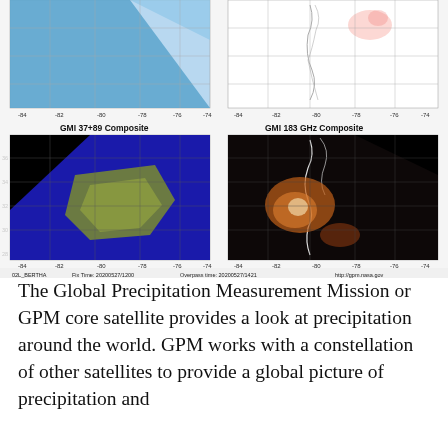[Figure (other): Four satellite composite images of a tropical storm (BERTHA) from GPM (Global Precipitation Measurement) satellite. Top-left and top-right show upper portion of two maps with grid axes labeled from -84 to -74 longitude. Bottom-left shows 'GMI 37+89 Composite' with a blue and yellow-green false-color satellite swath over land/ocean. Bottom-right shows 'GMI 183 GHz Composite' with a dark background and orange/white highlighted features. Caption below reads: '02L_BERTHA  Fix Time: 20200527/1200  Overpass time: 20200527/1421  http://gpm.nasa.gov']
The Global Precipitation Measurement Mission or GPM core satellite provides a look at precipitation around the world. GPM works with a constellation of other satellites to provide a global picture of precipitation and